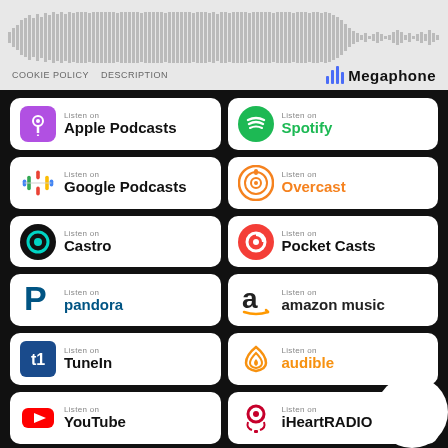[Figure (screenshot): Megaphone podcast player embed with waveform audio visualization, COOKIE POLICY and DESCRIPTION links, and Megaphone logo]
[Figure (infographic): Grid of podcast platform badges: Apple Podcasts, Spotify, Google Podcasts, Overcast, Castro, Pocket Casts, Pandora, Amazon Music, TuneIn, Audible, YouTube, iHeartRADIO]